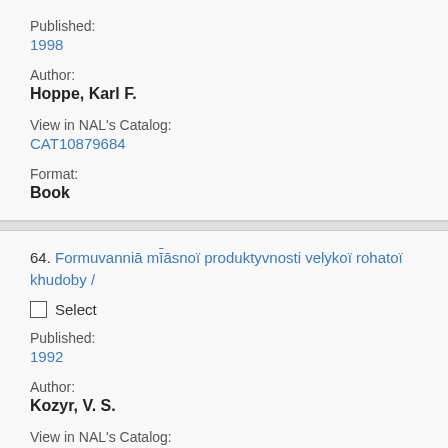Published:
1998
Author:
Hoppe, Karl F.
View in NAL's Catalog:
CAT10879684
Format:
Book
64. Formuvanniā mīāsnoï produktyvnosti velykoï rohatoï khudoby /
Select
Published:
1992
Author:
Kozyr, V. S.